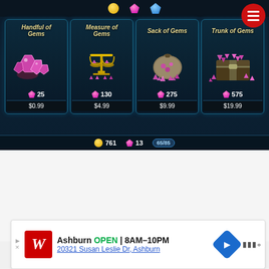[Figure (screenshot): Mobile game in-app purchase store showing four gem packs: Handful of Gems (25 gems, $0.99), Measure of Gems (130 gems, $4.99), Sack of Gems (275 gems, $9.99), Trunk of Gems (575 gems, $19.99). Currency bar at bottom shows 761 gold, 13 gems, 65/85 progress.]
[Figure (screenshot): Advertisement banner for Walgreens in Ashburn, showing OPEN 8AM-10PM, address 20321 Susan Leslie Dr, Ashburn]